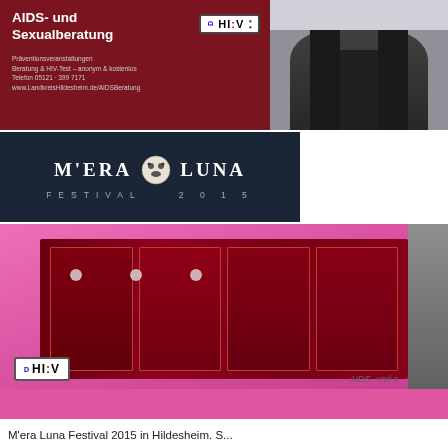[Figure (photo): Dark red background HIV advertisement with text 'AIDS- und Sexualberatung' and a license plate style 'HI:V' logo with prevention info and website]
[Figure (photo): Photo of two people in black clothing, cropped showing lower body/skirts and legs]
[Figure (logo): M'ERA LUNA FESTIVAL 2015 logo on dark navy background with moon face graphic]
[Figure (photo): Pink container/box holding HIV prevention brochures and materials with HI:V license plate and 'AIDS- und' text visible]
M'era Luna Festival 2015 in Hildesheim. S...